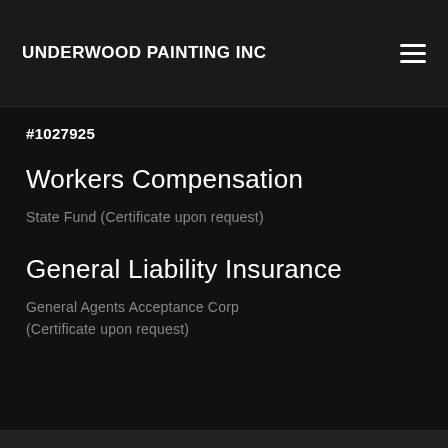UNDERWOOD PAINTING INC
#1027925
Workers Compensation
State Fund (Certificate upon request)
General Liability Insurance
General Agents Acceptance Corp (Certificate upon request)